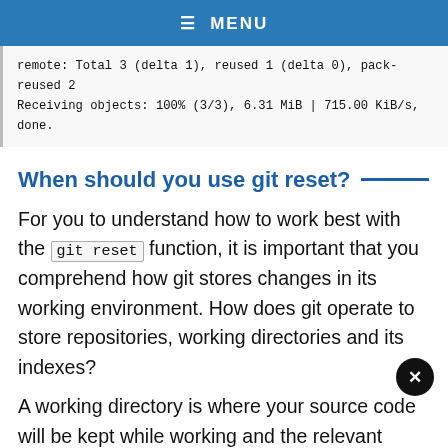≡ MENU
remote: Total 3 (delta 1), reused 1 (delta 0), pack-reused 2
Receiving objects: 100% (3/3), 6.31 MiB | 715.00 KiB/s, done.
When should you use git reset?
For you to understand how to work best with the git reset function, it is important that you comprehend how git stores changes in its working environment. How does git operate to store repositories, working directories and its indexes?
A working directory is where your source code will be kept while working and the relevant repo. It is in the directory where you will access all your files and folders for the current project.